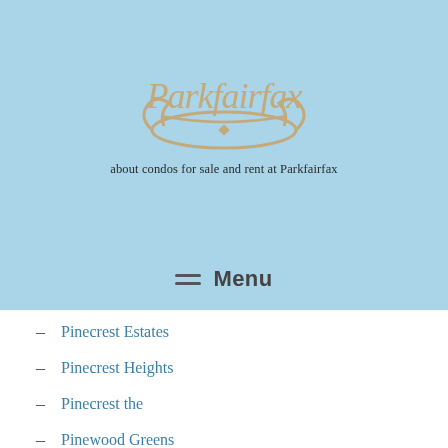[Figure (logo): Parkfairfax decorative script logo with ornamental swirl design in tan/gold on light blue background]
about condos for sale and rent at Parkfairfax
≡ Menu
Pinecrest Estates
Pinecrest Heights
Pinecrest the
Pinewood Greens
Place One
Pointe At Park Center